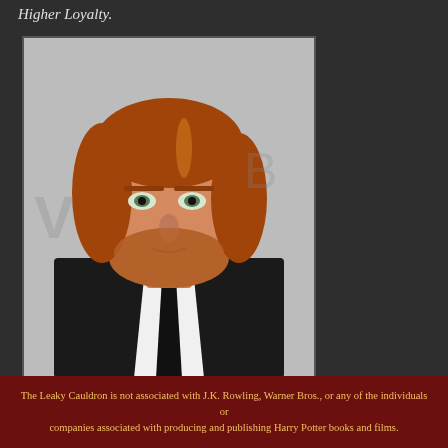Higher Loyalty.
[Figure (photo): Portrait photo of a young man with red-auburn hair and beard, wearing a dark suit with white shirt and black tie, photographed against a blurred light background at what appears to be a formal event.]
The Leaky Cauldron is not associated with J.K. Rowling, Warner Bros., or any of the individuals or companies associated with producing and publishing Harry Potter books and films.